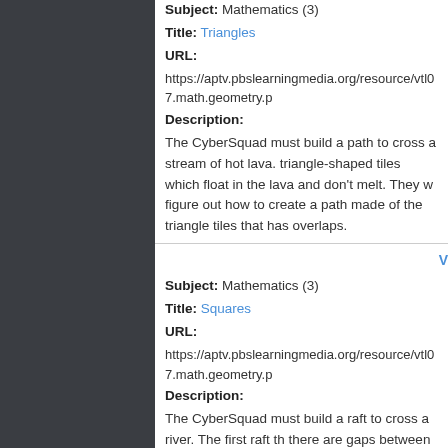Subject: Mathematics (3)
Title: Triangles
URL:
https://aptv.pbslearningmedia.org/resource/vtl07.math.geometry.p
Description:
The CyberSquad must build a path to cross a stream of hot lava. triangle-shaped tiles which float in the lava and don't melt. They figure out how to create a path made of the triangle tiles that has overlaps.
Subject: Mathematics (3)
Title: Squares
URL:
https://aptv.pbslearningmedia.org/resource/vtl07.math.geometry.p
Description:
The CyberSquad must build a raft to cross a river. The first raft there are gaps between the pieces of the raft that allow biting pira the holes. The CyberSquad uses their knowledge of tessellations out of squares that has no gaps or overlaps.